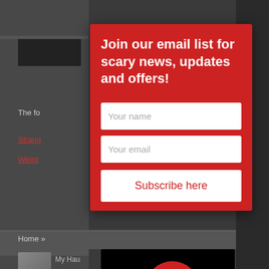[Figure (screenshot): Background website page showing dark themed haunted life website partially visible behind a modal popup]
Join our email list for scary news, updates and offers!
Your name
Your email
Subscribe here
[Figure (logo): My Haunted Life Too logo — red skull with eye patch over black background with stylized script text]